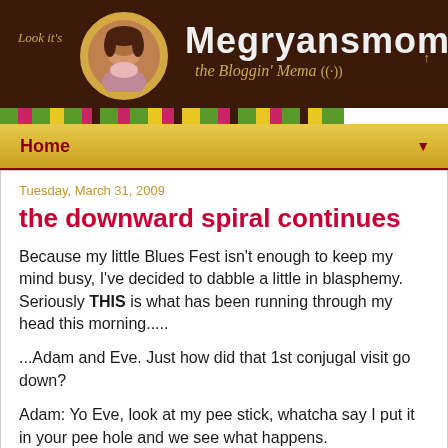[Figure (illustration): Blog header with dark brown background, circular avatar photo of a woman, script text 'Look it's', site title 'Megryansmom' in white bold text, subtitle 'the Bloggin' Mema' in gold italic script, and wifi/broadcast icon]
[Figure (illustration): Decorative color stripe bar with repeating blocks of green, magenta/pink, yellow, and brown colors]
Home
Tuesday, March 31, 2009
the downward spiral continues
Because my little Blues Fest isn't enough to keep my mind busy, I've decided to dabble a little in blasphemy. Seriously THIS is what has been running through my head this morning.....
...Adam and Eve. Just how did that 1st conjugal visit go down?
Adam: Yo Eve, look at my pee stick, whatcha say I put it in your pee hole and we see what happens.
Eve: Yeah, great idea! Let's try it.